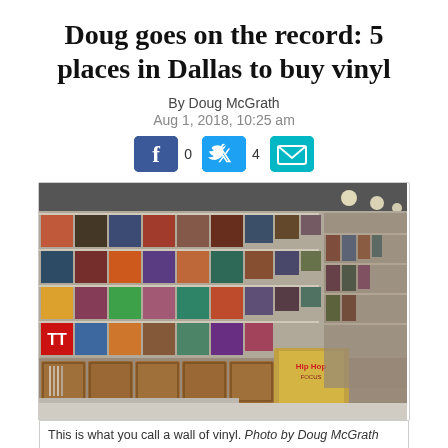Doug goes on the record: 5 places in Dallas to buy vinyl
By Doug McGrath
Aug 1, 2018, 10:25 am
[Figure (other): Social sharing buttons: Facebook (0), Twitter (4), Email]
[Figure (photo): Interior of a vinyl record store showing a large wall display of record album covers on shelves, with wooden crates of records below and a Hip Hop magazine display in the foreground.]
This is what you call a wall of vinyl. Photo by Doug McGrath